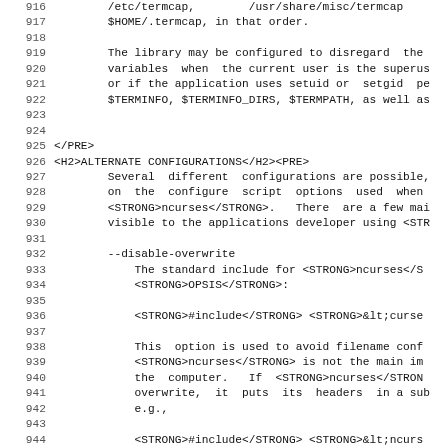Lines 916-947 of a man page / HTML source showing ncurses documentation with alternate configurations section
916: /etc/termcap,         /usr/share/misc/termcap
917:     $HOME/.termcap, in that order.
918: (blank)
919:     The library may be configured to disregard the
920:     variables  when  the current user is the superus
921:     or if the application uses setuid or  setgid  pe
922:     $TERMINFO, $TERMINFO_DIRS, $TERMPATH, as well as
923: (blank)
924: (blank)
925: </PRE>
926: <H2>ALTERNATE CONFIGURATIONS</H2><PRE>
927:     Several  different  configurations are possible,
928:     on  the  configure  script  options  used  when
929:     <STRONG>ncurses</STRONG>.   There  are a few mai
930:     visible to the applications developer using <STR
931: (blank)
932:     --disable-overwrite
933:         The standard include for <STRONG>ncurses</S
934:         <STRONG>OPSIS</STRONG>:
935: (blank)
936:         <STRONG>#include</STRONG> <STRONG>&lt;curse
937: (blank)
938:         This  option is used to avoid filename conf
939:         <STRONG>ncurses</STRONG> is not the main im
940:         the  computer.   If  <STRONG>ncurses</STRON
941:         overwrite,  it  puts  its  headers  in a sub
942:         e.g.,
943: (blank)
944:         <STRONG>#include</STRONG> <STRONG>&lt;ncurs
945: (blank)
946:         It  also  omits a symbolic link which would
947:         to use <STRONG>-lcurses</STRONG> to build